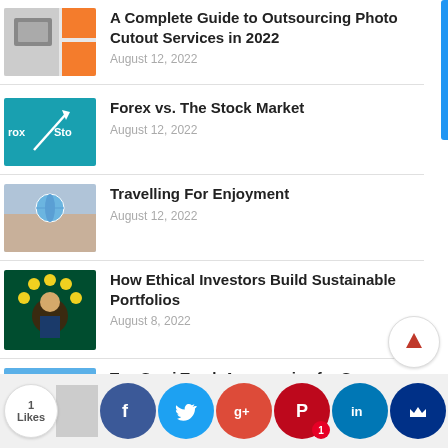A Complete Guide to Outsourcing Photo Cutout Services in 2022 — August 12, 2022
Forex vs. The Stock Market — August 12, 2022
Travelling For Enjoyment — August 12, 2022
How Ethical Investors Build Sustainable Portfolios — August 8, 2022
Top Semi Truck Accessories for Summer — August 7, 2022
[Figure (screenshot): Social sharing bar at the bottom with Facebook, Twitter, Google+, Pinterest, LinkedIn, and MeWe icons, plus a Likes counter showing 1 Like and a back-to-top arrow button.]